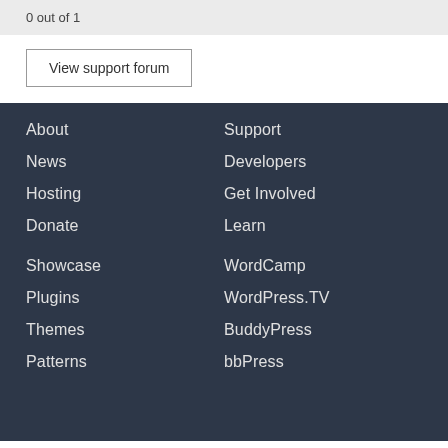0 out of 1
View support forum
About
News
Hosting
Donate
Support
Developers
Get Involved
Learn
Showcase
Plugins
Themes
Patterns
WordCamp
WordPress.TV
BuddyPress
bbPress